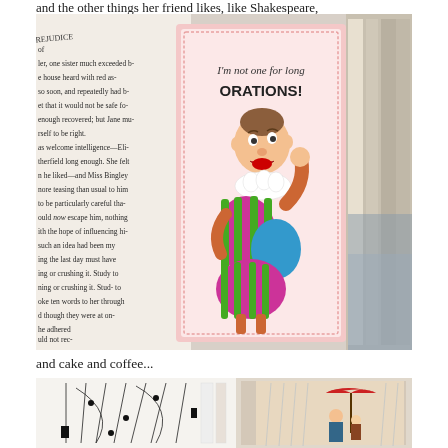and the other things her friend likes, like Shakespeare,
[Figure (photo): Photograph of open books/cards on a table: left side shows a page from Pride and Prejudice with partially visible text, center shows a vintage greeting card with a jester/clown character saying 'I'm not one for long ORATIONS!', right side shows book spines and pages.]
and cake and coffee...
[Figure (photo): Photograph of open books: left shows sheet music or abstract line drawing on white pages, right shows a vintage illustration of people under a red umbrella in the rain.]